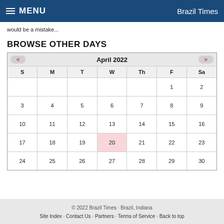MENU · Brazil Times
would be a mistake...
BROWSE OTHER DAYS
| S | M | T | W | Th | F | Sa |
| --- | --- | --- | --- | --- | --- | --- |
|  |  |  |  |  | 1 | 2 |
| 3 | 4 | 5 | 6 | 7 | 8 | 9 |
| 10 | 11 | 12 | 13 | 14 | 15 | 16 |
| 17 | 18 | 19 | 20 | 21 | 22 | 23 |
| 24 | 25 | 26 | 27 | 28 | 29 | 30 |
© 2022 Brazil Times · Brazil, Indiana
Site Index · Contact Us · Partners · Terms of Service · Back to top